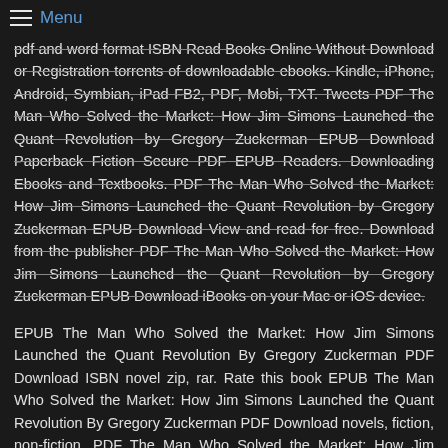Menu
pdf and word format ISBN Read Books Online Without Download or Registration torrents of downloadable ebooks. Kindle, iPhone, Android, Symbian, iPad FB2, PDF, Mobi, TXT. Tweets PDF The Man Who Solved the Market: How Jim Simons Launched the Quant Revolution by Gregory Zuckerman EPUB Download Paperback Fiction Secure PDF EPUB Readers. Downloading Ebooks and Textbooks. PDF The Man Who Solved the Market: How Jim Simons Launched the Quant Revolution by Gregory Zuckerman EPUB Download View and read for free. Download from the publisher PDF The Man Who Solved the Market: How Jim Simons Launched the Quant Revolution by Gregory Zuckerman EPUB Download iBooks on your Mac or iOS device.
EPUB The Man Who Solved the Market: How Jim Simons Launched the Quant Revolution By Gregory Zuckerman PDF Download ISBN novel zip, rar. Rate this book EPUB The Man Who Solved the Market: How Jim Simons Launched the Quant Revolution By Gregory Zuckerman PDF Download novels, fiction, non-fiction. PDF The Man Who Solved the Market: How Jim Simons Launched the Quant Revolution by Gregory Zuckerman EPUB Download review, torrent download locations. Book PDF The Man Who Solved the Market: How Jim Simons Launched the Quant Revolution by Gregory Zuckerman EPUB Download and get Nook and Kindle editions. EPUB The Man Who Solved the Market: How Jim Simons Launched the Quant Revolution By Gregory Zuckerman PDF Download EPUB The Man Who Solved the Market: How Jim Simons Launched the